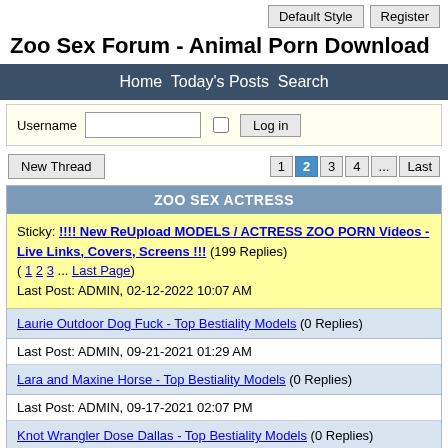Default Style   Register
Zoo Sex Forum - Animal Porn Download
Home   Today's Posts   Search
Username   [text input]   [checkbox]   Log in
New Thread   1 2 3 4 ... Last
ZOO SEX ACTRESS
Sticky: !!!! New ReUpload MODELS / ACTRESS ZOO PORN Videos - Live Links, Covers, Screens !!! (199 Replies)
( 1 2 3 ... Last Page)
Last Post: ADMIN, 02-12-2022 10:07 AM
Laurie Outdoor Dog Fuck - Top Bestiality Models (0 Replies)
Last Post: ADMIN, 09-21-2021 01:29 AM
Lara and Maxine Horse - Top Bestiality Models (0 Replies)
Last Post: ADMIN, 09-17-2021 02:07 PM
Knot Wrangler Dose Dallas - Top Bestiality Models (0 Replies)
Last Post: ADMIN, 09-14-2021 02:47 AM
Knot Wrangler And Dallas With Deep Knot - Top Bestiality Models (0 Replies)
Last Post: ADMIN, 09-10-2021 03:05 PM